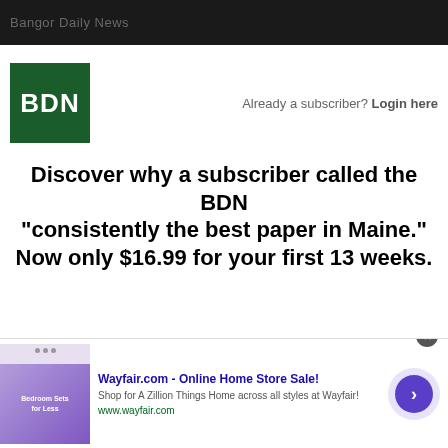Bangor Daily News header bar
[Figure (logo): BDN (Bangor Daily News) green logo square with white BDN text]
Already a subscriber? Login here
Discover why a subscriber called the BDN "consistently the best paper in Maine." Now only $16.99 for your first 13 weeks.
[Figure (infographic): Wayfair.com advertisement banner: Online Home Store Sale! Shop for A Zillion Things Home across all styles at Wayfair! www.wayfair.com — with bedroom furniture image and arrow button]